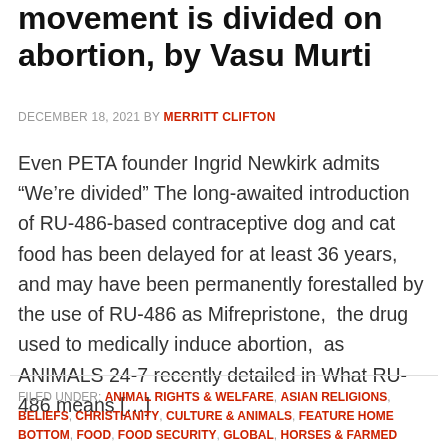movement is divided on abortion, by Vasu Murti
DECEMBER 18, 2021 BY MERRITT CLIFTON
Even PETA founder Ingrid Newkirk admits “We’re divided” The long-awaited introduction of RU-486-based contraceptive dog and cat food has been delayed for at least 36 years,  and may have been permanently forestalled by the use of RU-486 as Mifrepristone,  the drug used to medically induce abortion,  as ANIMALS 24-7 recently detailed in What RU-486 means […]
FILED UNDER: ANIMAL RIGHTS & WELFARE, ASIAN RELIGIONS, BELIEFS, CHRISTIANITY, CULTURE & ANIMALS, FEATURE HOME BOTTOM, FOOD, FOOD SECURITY, GLOBAL, HORSES & FARMED ANIMALS, JUDAISM, MEAT ISSUES, RELIGION & PHILOSOPHY, VEGETARIANS &